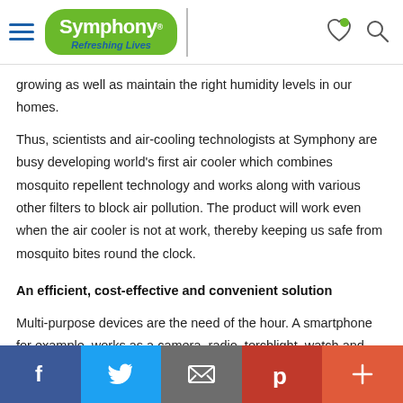Symphony – Refreshing Lives
growing as well as maintain the right humidity levels in our homes.
Thus, scientists and air-cooling technologists at Symphony are busy developing world's first air cooler which combines mosquito repellent technology and works along with various other filters to block air pollution. The product will work even when the air cooler is not at work, thereby keeping us safe from mosquito bites round the clock.
An efficient, cost-effective and convenient solution
Multi-purpose devices are the need of the hour. A smartphone for example, works as a camera, radio, torchlight, watch and even computer creates multiple usage of technology through a single device. Not only does it add to
Facebook | Twitter | Email | Pinterest | More